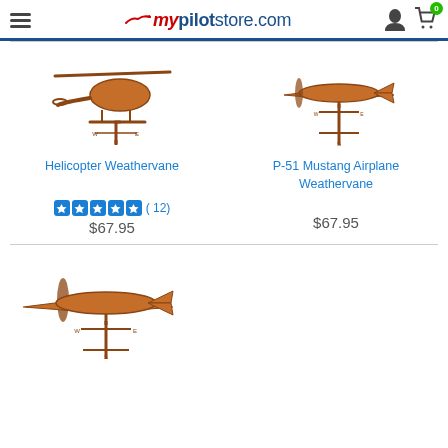mypilotstore.com
[Figure (photo): Helicopter weathervane product image - copper colored helicopter on directional stand]
Helicopter Weathervane
★★★★★ (12)
$67.95
[Figure (photo): P-51 Mustang Airplane weathervane product image - copper colored WWII fighter plane on directional stand]
P-51 Mustang Airplane Weathervane
$67.95
[Figure (photo): Another airplane weathervane product image at the bottom of the page - copper colored airplane on directional stand]